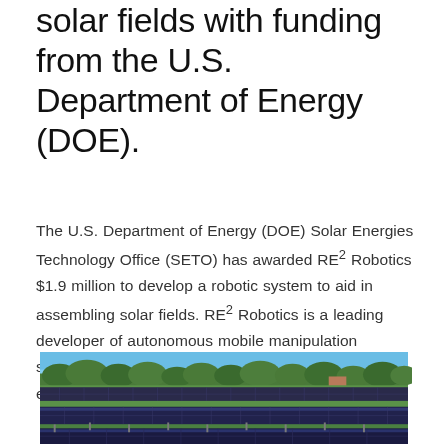solar fields with funding from the U.S. Department of Energy (DOE).
The U.S. Department of Energy (DOE) Solar Energies Technology Office (SETO) has awarded RE2 Robotics $1.9 million to develop a robotic system to aid in assembling solar fields. RE2 Robotics is a leading developer of autonomous mobile manipulation systems with robotic arms for outdoor and indoor environments.
[Figure (photo): Aerial view of a large solar panel field with rows of tilted photovoltaic panels on green grass, trees and buildings visible in the background under a blue sky.]